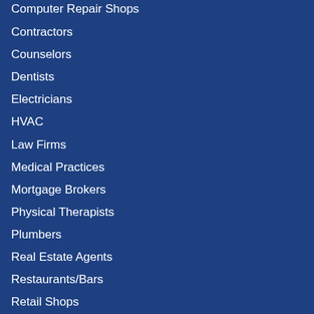Computer Repair Shops
Contractors
Counselors
Dentists
Electricians
HVAC
Law Firms
Medical Practices
Mortgage Brokers
Physical Therapists
Plumbers
Real Estate Agents
Restaurants/Bars
Retail Shops
Roofers